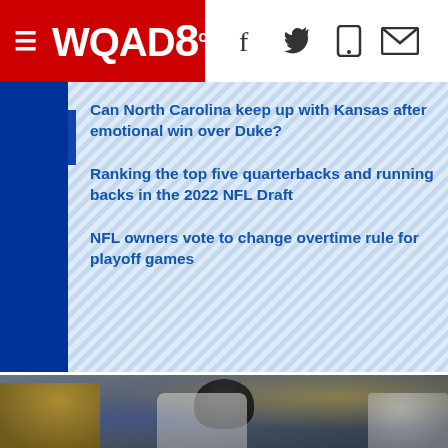WQAD8
Can North Carolina keep up with Kansas after emotional win over Duke?
Ranking the top five quarterbacks and running backs in the 2022 NFL Draft
NFL owners vote to change overtime rule for playoff games
Related podcasts
[Figure (photo): NFL football players on field, Chicago Bears player in center with navy helmet, Los Angeles Rams player in gold and blue on left, blurred crowd in background]